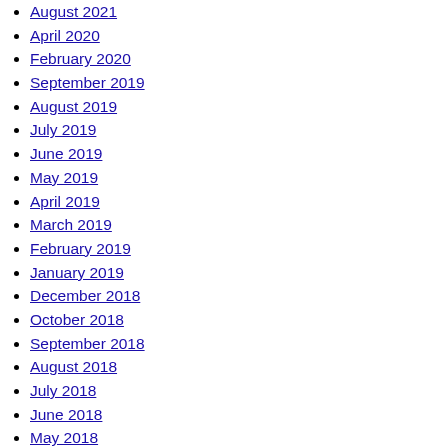August 2021
April 2020
February 2020
September 2019
August 2019
July 2019
June 2019
May 2019
April 2019
March 2019
February 2019
January 2019
December 2018
October 2018
September 2018
August 2018
July 2018
June 2018
May 2018
April 2018
March 2018
February 2018
January 2018
December 2017
November 2017
October 2017